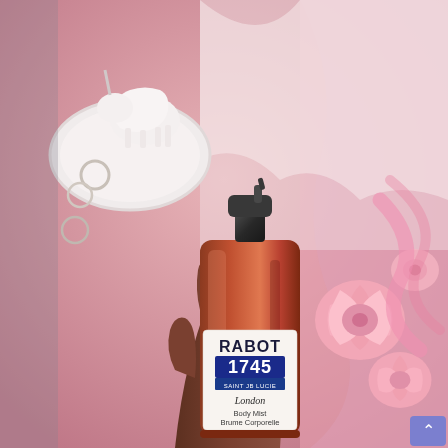[Figure (photo): A hand holding a dark amber glass spray bottle of Rabot 1745 Saint Lucia London Body Mist / Brume Corporelle 100ml / 3.5fl oz, with a white label displaying the brand name and product details. The background shows pink roses on the right, a white ceramic unicorn figurine and rings on a white plate to the upper left, and pink fabric/textile. The overall color palette is pink and rose-toned.]